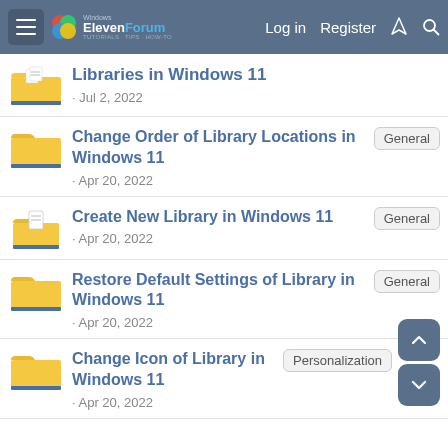Windows ElevenForum | Log in | Register
Libraries in Windows 11 · Jul 2, 2022
Change Order of Library Locations in Windows 11 · Apr 20, 2022 [General]
Create New Library in Windows 11 · Apr 20, 2022 [General]
Restore Default Settings of Library in Windows 11 · Apr 20, 2022 [General]
Change Icon of Library in Windows 11 · Apr 20, 2022 [Personalization]